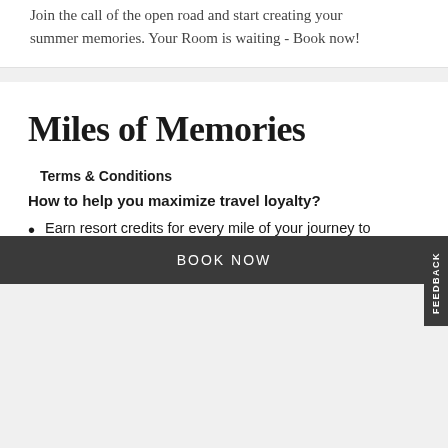Join the call of the open road and start creating your summer memories. Your Room is waiting - Book now!
Miles of Memories
Terms & Conditions
How to help you maximize travel loyalty?
Earn resort credits for every mile of your journey to Fairmont Fujairah Beach Resort. Get 1 AED for every mile you travel multiplied by the
BOOK NOW